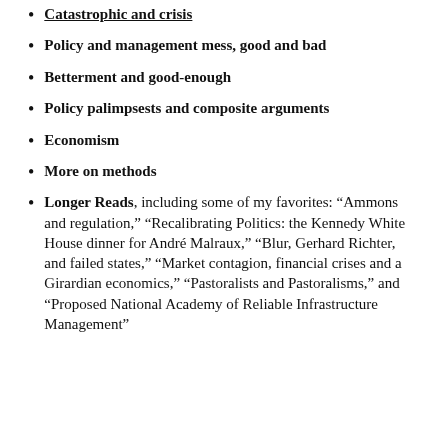Catastrophic and crisis
Policy and management mess, good and bad
Betterment and good-enough
Policy palimpsests and composite arguments
Economism
More on methods
Longer Reads, including some of my favorites: “Ammons and regulation,” “Recalibrating Politics: the Kennedy White House dinner for André Malraux,” “Blur, Gerhard Richter, and failed states,” “Market contagion, financial crises and a Girardian economics,” “Pastoralists and Pastoralisms,” and “Proposed National Academy of Reliable Infrastructure Management”